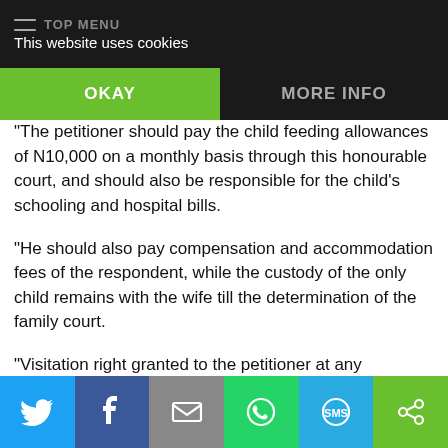This website uses cookies
OKAY   MORE INFO
“The petitioner should pay the child feeding allowances of N10,000 on a monthly basis through this honourable court, and should also be responsible for the child’s schooling and hospital bills.
“He should also pay compensation and accommodation fees of the respondent, while the custody of the only child remains with the wife till the determination of the family court.
“Visitation right granted to the petitioner at any reasonable time of the day,” Adebiyi ruled.
Adekunle, who resides at 6, Gbola Akinpelu St., Ikorodu, in his petition, told the court that his wife, who is a beautician, was in the habit of starving him of food.